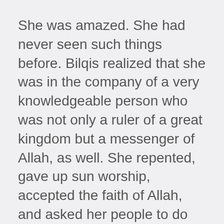She was amazed. She had never seen such things before. Bilqis realized that she was in the company of a very knowledgeable person who was not only a ruler of a great kingdom but a messenger of Allah, as well. She repented, gave up sun worship, accepted the faith of Allah, and asked her people to do the same.
It was finished; Bilqis saw her people's creed fall apart before Solomon. She realized that the sun which her people worshipped was nothing but one of Allah's creatures. The sun eclipsed within